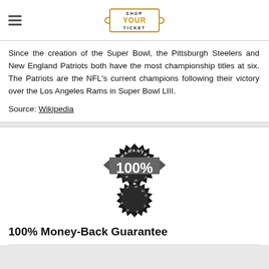SHOP YOUR TICKET
Since the creation of the Super Bowl, the Pittsburgh Steelers and New England Patriots both have the most championship titles at six. The Patriots are the NFL's current champions following their victory over the Los Angeles Rams in Super Bowl LIII.
Source: Wikipedia
[Figure (illustration): 100% Guarantee badge/seal with starburst border, ribbon banner showing '100%', and 'GUARANTEE' text arranged in a circle]
100% Money-Back Guarantee